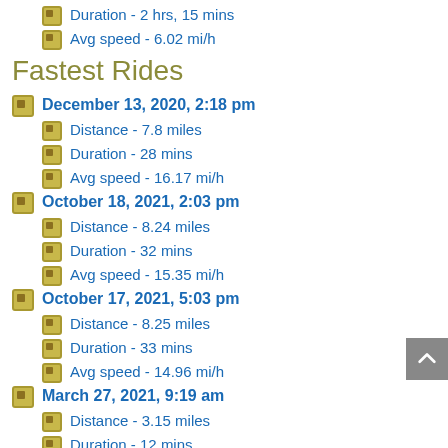Duration - 2 hrs, 15 mins
Avg speed - 6.02 mi/h
Fastest Rides
December 13, 2020, 2:18 pm
Distance - 7.8 miles
Duration - 28 mins
Avg speed - 16.17 mi/h
October 18, 2021, 2:03 pm
Distance - 8.24 miles
Duration - 32 mins
Avg speed - 15.35 mi/h
October 17, 2021, 5:03 pm
Distance - 8.25 miles
Duration - 33 mins
Avg speed - 14.96 mi/h
March 27, 2021, 9:19 am
Distance - 3.15 miles
Duration - 12 mins